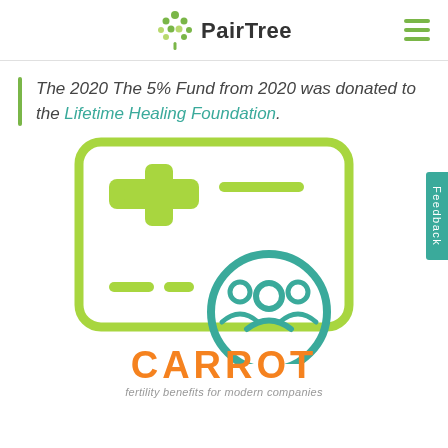PairTree
The 2020 The 5% Fund from 2020 was donated to the Lifetime Healing Foundation.
[Figure (illustration): Insurance card / medical card icon in lime green with a cross symbol and dashed lines, overlaid with a teal circular people/group icon. Below is the CARROT logo with subtitle 'fertility benefits for modern companies'.]
CARROT fertility benefits for modern companies